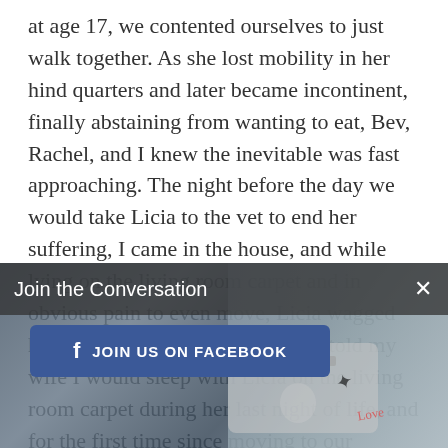at age 17, we contented ourselves to just walk together. As she lost mobility in her hind quarters and later became incontinent, finally abstaining from wanting to eat, Bev, Rachel, and I knew the inevitable was fast approaching. The night before the day we would take Licia to the vet to end her suffering, I came in the house, and while lying on the living room carpet and in obvious pain to even move, Licia wagged her tail and tried to crawl to me. I told my wife I would sleep with Licia on the living room carpet during her last night of life, and for the first time since moving to our Toccoa home in 1997, I sobbed at the sadness and necessity of saying good-bye to the most amazing pet we had ever owned. Bev and I took Licia to the vet that historic morning in 2012, and stood by the table where she wagged her last
[Figure (photo): Blurred/dark photo of objects on a table including what appears to be cards and stickers, overlaid with a dark semi-transparent banner.]
Join the Conversation
JOIN US ON FACEBOOK